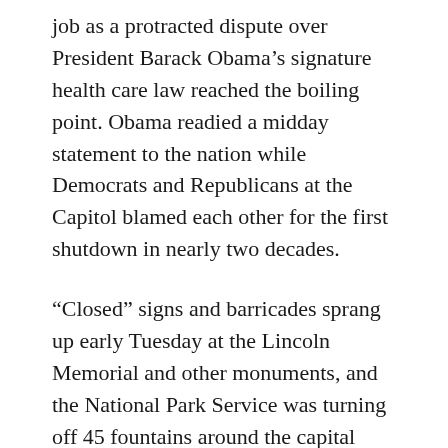job as a protracted dispute over President Barack Obama's signature health care law reached the boiling point. Obama readied a midday statement to the nation while Democrats and Republicans at the Capitol blamed each other for the first shutdown in nearly two decades.
“Closed” signs and barricades sprang up early Tuesday at the Lincoln Memorial and other monuments, and the National Park Service was turning off 45 fountains around the capital city. National parks from Acadia in Maine to Denali in Alaska followed suit, as did many federal workplaces.